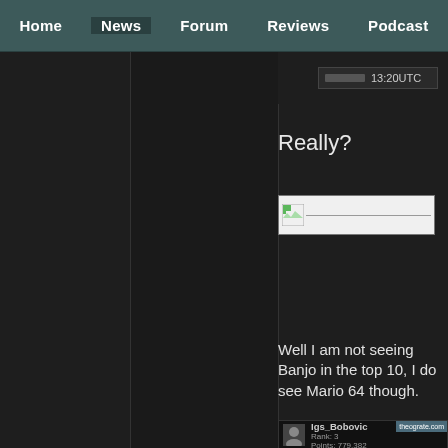Home | News | Forum | Reviews | Podcast
13:20UTC
Really?
[Figure (photo): Broken image placeholder icon with white/light background and a small flag-like thumbnail icon in the top-left corner]
Well I am not seeing Banjo in the top 10, I do see Mario 64 though.
[Figure (screenshot): User profile strip showing username 'Igs_Bobovic' with avatar, rank 3, and Points: 779,382, with a badge in top right corner]